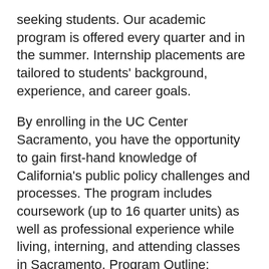seeking students. Our academic program is offered every quarter and in the summer. Internship placements are tailored to students' background, experience, and career goals.
By enrolling in the UC Center Sacramento, you have the opportunity to gain first-hand knowledge of California's public policy challenges and processes. The program includes coursework (up to 16 quarter units) as well as professional experience while living, interning, and attending classes in Sacramento. Program Outline:
1. COURSEWORK & INTERNSHIP